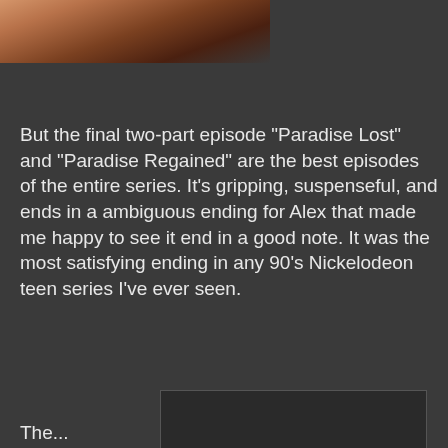[Figure (photo): Partial view of a person with reddish-blonde hair against a dark background, cropped at the top of the page]
But the final two-part episode "Paradise Lost" and "Paradise Regained" are the best episodes of the entire series. It's gripping, suspenseful, and ends in a ambiguous ending for Alex that made me happy to see it end in a good note. It was the most satisfying ending in any 90's Nickelodeon teen series I've ever seen.
[Figure (screenshot): YouTube video player showing 'Video unavailable' message. Text reads: 'This video is no longer available due to a copyright claim by Fabulous Films Ltd'. YouTube logo visible in bottom right corner.]
The...